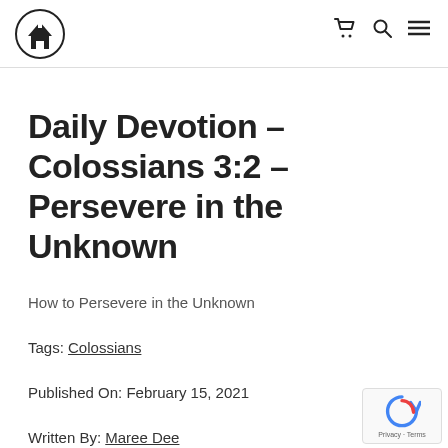Church logo navigation header with cart, search, and menu icons
Daily Devotion – Colossians 3:2 – Persevere in the Unknown
How to Persevere in the Unknown
Tags: Colossians
Published On: February 15, 2021
Written By: Maree Dee